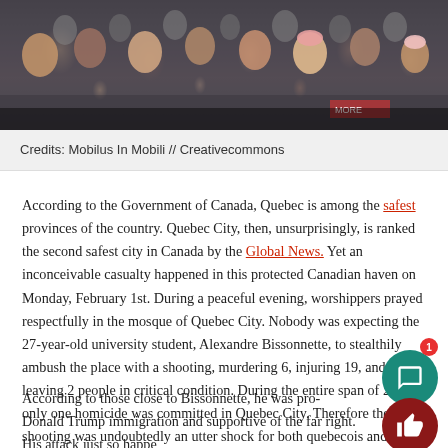[Figure (photo): Crowd of protesters at a march, seen from behind and sides, many people wearing winter clothing]
Credits: Mobilus In Mobili // Creativecommons
According to the Government of Canada, Quebec is among the safest provinces of the country. Quebec City, then, unsurprisingly, is ranked the second safest city in Canada by the Global News. Yet an inconceivable casualty happened in this protected Canadian haven on Monday, February 1st. During a peaceful evening, worshippers prayed respectfully in the mosque of Quebec City. Nobody was expecting the 27-year-old university student, Alexandre Bissonnette, to stealthily ambush the place with a shooting, murdering 6, injuring 19, and leaving 2 people in critical condition. During the entire span of 2016, only one homicide was committed in Quebec City. Therefore the shooting was undoubtedly an utter shock for both quebecois and other Canadians on a national sc
According to those close to Bissonnette, he was pro-Donald Trump immigration and supportive of the far right. His attack just so happe